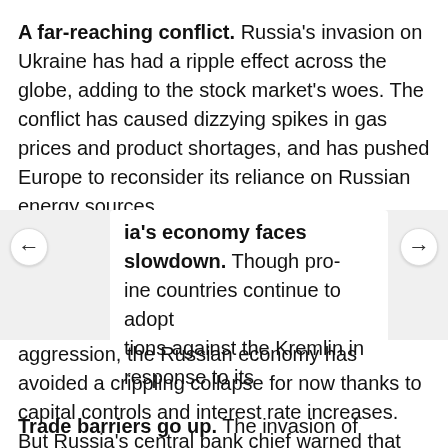A far-reaching conflict. Russia's invasion on Ukraine has had a ripple effect across the globe, adding to the stock market's woes. The conflict has caused dizzying spikes in gas prices and product shortages, and has pushed Europe to reconsider its reliance on Russian energy sources.
…ia's economy faces slowdown. Though pro-ine countries continue to adopt tions against the Kremlin in response to its aggression, the Russian economy has avoided a crippling collapse for now thanks to capital controls and interest rate increases. But Russia's central bank chief warned that the country is likely to face a steep economic downturn as its inventory of imported goods and parts runs low.
Trade barriers go up. The invasion of Ukraine